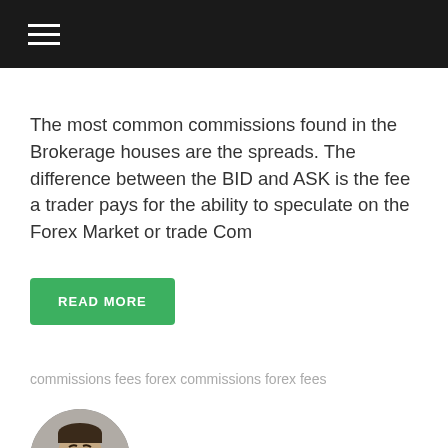The most common commissions found in the Brokerage houses are the spreads. The difference between the BID and ASK is the fee a trader pays for the ability to speculate on the Forex Market or trade Com
READ MORE
commissions fees forex commissions forex fees
Razvan Mihai